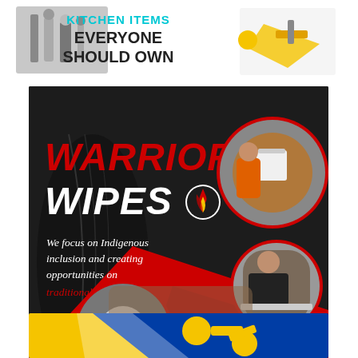[Figure (advertisement): Top ad banner: Kitchen items everyone should own — shows kitchen gadgets on left, yellow tool on right, with text 'KITCHEN ITEMS EVERYONE SHOULD OWN']
[Figure (advertisement): Warrior Wipes advertisement on dark background. Large text 'WARRIOR WIPES' with logo. Tagline: 'We focus on Indigenous inclusion and creating opportunities on traditional land.' URL: www.warriorsupplies.com. Circular photos of workers and people using products. Red diagonal design element.]
[Figure (advertisement): Bottom partial ad banner with blue and yellow colors showing tools/hardware equipment]